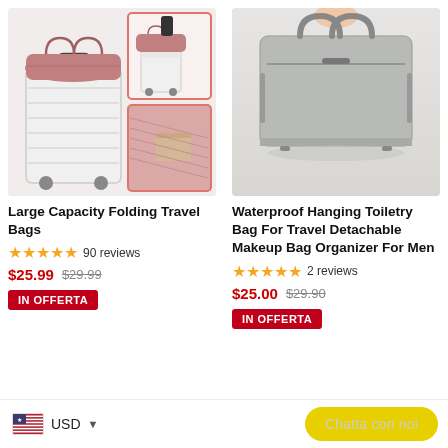[Figure (photo): Pink folding travel bag shown on a white suitcase with two thumbnail images on the right showing bag detail and pocket]
[Figure (photo): Gray waterproof hanging toiletry bag with handles on a light background]
Large Capacity Folding Travel Bags
★★★★★ 90 reviews
$25.99  $29.99
IN OFFERTA
Waterproof Hanging Toiletry Bag For Travel Detachable Makeup Bag Organizer For Men
★★★★★ 2 reviews
$25.00  $29.90
IN OFFERTA
USD
Chatta con noi